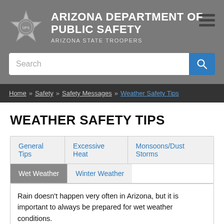ARIZONA DEPARTMENT OF PUBLIC SAFETY
ARIZONA STATE TROOPERS
[Figure (logo): Arizona Department of Public Safety badge/star logo]
Search
Home » Safety » Safety Messages » Weather Safety Tips
WEATHER SAFETY TIPS
General Tips | Excessive Heat | Monsoons/Dust Storms | Wet Weather | Winter Weather
Rain doesn't happen very often in Arizona, but it is important to always be prepared for wet weather conditions.